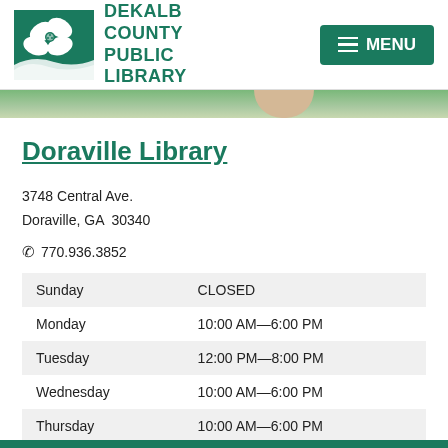[Figure (logo): DeKalb County Public Library logo with white dogwood flower on green background, with library name text beside it]
[Figure (photo): Partial photo strip showing green grass/garden area with skin-toned element]
Doraville Library
3748 Central Ave.
Doraville, GA  30340
📞 770.936.3852
| Day | Hours |
| --- | --- |
| Sunday | CLOSED |
| Monday | 10:00 AM—6:00 PM |
| Tuesday | 12:00 PM—8:00 PM |
| Wednesday | 10:00 AM—6:00 PM |
| Thursday | 10:00 AM—6:00 PM |
| Friday | CLOSED |